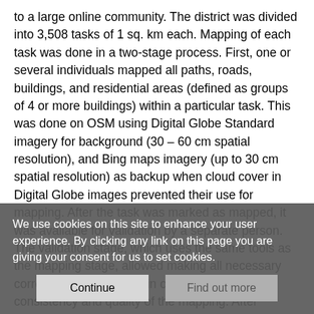to a large online community. The district was divided into 3,508 tasks of 1 sq. km each. Mapping of each task was done in a two-stage process. First, one or several individuals mapped all paths, roads, buildings, and residential areas (defined as groups of 4 or more buildings) within a particular task. This was done on OSM using Digital Globe Standard imagery for background (30 – 60 cm spatial resolution), and Bing maps imagery (up to 30 cm spatial resolution) as backup when cloud cover in Digital Globe images prevented their use for mapping. After the task was marked as mapped, it was available for validation by a separate person. The validation stage, which uses the same tools as the mapping stage, allowed making all necessary corrections of each task in order to ensure the consistency and quality of the mapping. After
We use cookies on this site to enhance your user experience. By clicking any link on this page you are giving your consent for us to set cookies.